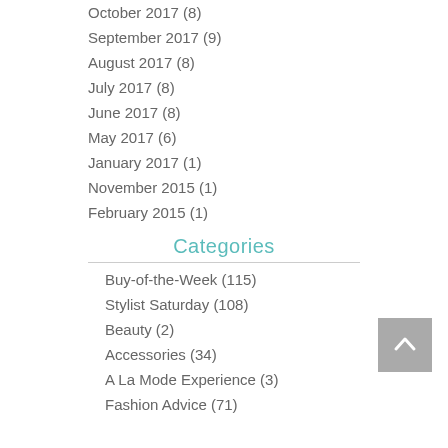October 2017 (8)
September 2017 (9)
August 2017 (8)
July 2017 (8)
June 2017 (8)
May 2017 (6)
January 2017 (1)
November 2015 (1)
February 2015 (1)
Categories
Buy-of-the-Week (115)
Stylist Saturday (108)
Beauty (2)
Accessories (34)
A La Mode Experience (3)
Fashion Advice (71)